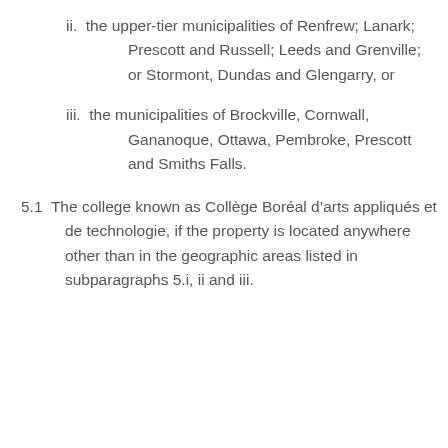ii. the upper-tier municipalities of Renfrew; Lanark; Prescott and Russell; Leeds and Grenville; or Stormont, Dundas and Glengarry, or
iii. the municipalities of Brockville, Cornwall, Gananoque, Ottawa, Pembroke, Prescott and Smiths Falls.
5.1 The college known as Collège Boréal d’arts appliqués et de technologie, if the property is located anywhere other than in the geographic areas listed in subparagraphs 5.i, ii and iii.